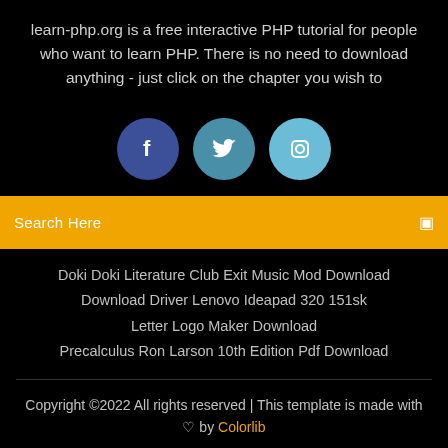learn-php.org is a free interactive PHP tutorial for people who want to learn PHP. There is no need to download anything - just click on the chapter you wish to
[Figure (illustration): Three social media icon circles: Facebook (dark blue), Twitter (medium blue), Instagram (light blue), each with white icons]
Search Here
Doki Doki Literature Club Exit Music Mod Download
Download Driver Lenovo Ideapad 320 151sk
Letter Logo Maker Download
Precalculus Ron Larson 10th Edition Pdf Download
Copyright ©2022 All rights reserved | This template is made with ♡ by Colorlib